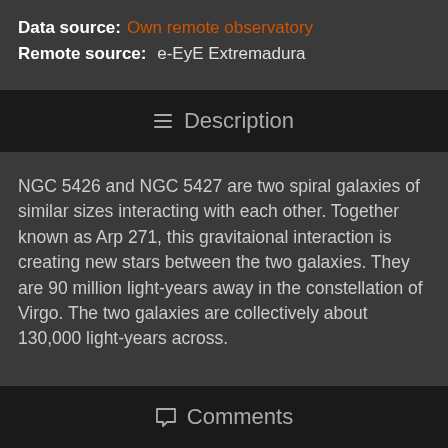Data source: Own remote observatory
Remote source: e-EyE Extremadura
Description
NGC 5426 and NGC 5427 are two spiral galaxies of similar sizes interacting with each other. Together known as Arp 271, this gravitaional interaction is creating new stars between the two galaxies. They are 90 million light-years away in the constellation of Virgo. The two galaxies are collectively about 130,000 light-years across.
Comments